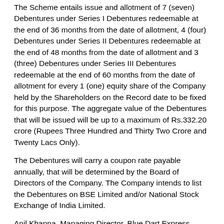The Scheme entails issue and allotment of 7 (seven) Debentures under Series I Debentures redeemable at the end of 36 months from the date of allotment, 4 (four) Debentures under Series II Debentures redeemable at the end of 48 months from the date of allotment and 3 (three) Debentures under Series III Debentures redeemable at the end of 60 months from the date of allotment for every 1 (one) equity share of the Company held by the Shareholders on the Record date to be fixed for this purpose. The aggregate value of the Debentures that will be issued will be up to a maximum of Rs.332.20 crore (Rupees Three Hundred and Thirty Two Crore and Twenty Lacs Only).
The Debentures will carry a coupon rate payable annually, that will be determined by the Board of Directors of the Company. The Company intends to list the Debentures on BSE Limited and/or National Stock Exchange of India Limited.
Anil Khanna, Managing Director, Blue Dart Express Limited said, "In tough times like these when the industry is grappling to cope with the current economic scenario and the slow GDP growth, we have worked as one team with determination to overcome the challenges and have kept up to our commitment to service excellence.
We are delighted to serve in "Blue Dart Country" with a business